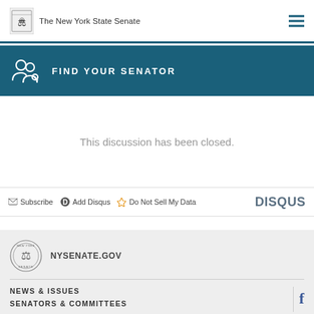The New York State Senate
FIND YOUR SENATOR
This discussion has been closed.
Subscribe  Add Disqus  Do Not Sell My Data  DISQUS
NYSENATE.GOV  NEWS & ISSUES  SENATORS & COMMITTEES